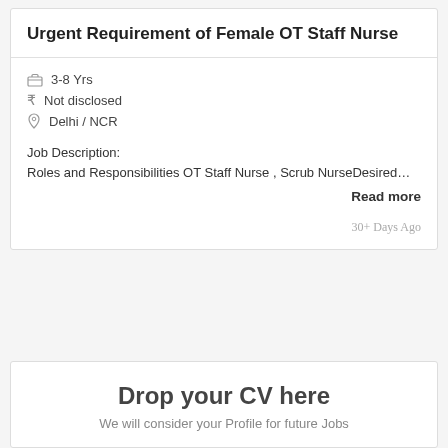Urgent Requirement of Female OT Staff Nurse
3-8 Yrs
Not disclosed
Delhi / NCR
Job Description:
Roles and Responsibilities OT Staff Nurse , Scrub NurseDesired…
Read more
30+ Days Ago
Drop your CV here
We will consider your Profile for future Jobs